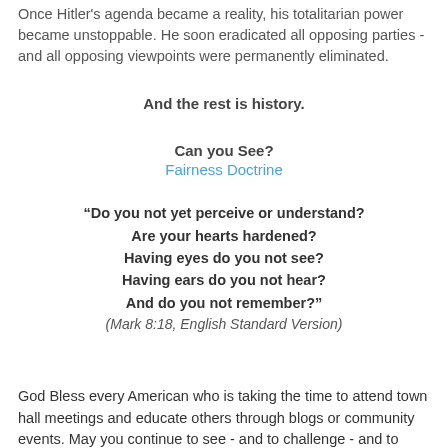Once Hitler's agenda became a reality, his totalitarian power became unstoppable. He soon eradicated all opposing parties - and all opposing viewpoints were permanently eliminated.
And the rest is history.
Can you See?
Fairness Doctrine
“Do you not yet perceive or understand? Are your hearts hardened? Having eyes do you not see? Having ears do you not hear? And do you not remember?”
(Mark 8:18, English Standard Version)
God Bless every American who is taking the time to attend town hall meetings and educate others through blogs or community events. May you continue to see - and to challenge - and to protect - and to fight for our rights - with